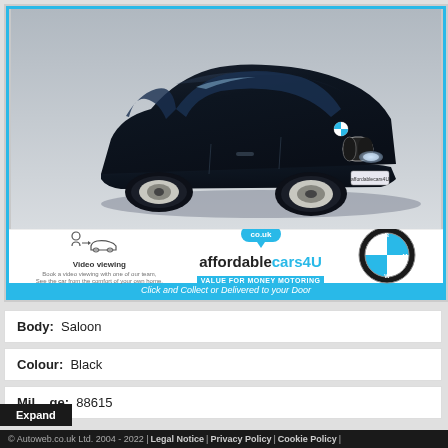[Figure (photo): Dark navy/black BMW 7-series saloon car photographed at three-quarter front angle. The car has chrome kidney grille, alloy wheels, and an affordablecars4U dealer plate. Below the car photo is a dealer strip showing: Video viewing icon with small text, affordablecars4U logo with 'VALUE FOR MONEY MOTORING' tagline, and BMW roundel logo. A cyan bar at the bottom reads 'Click and Collect or Delivered to your Door'.]
Body: Saloon
Colour: Black
Mileage: 88615
© Autoweb.co.uk Ltd. 2004 - 2022 | Legal Notice | Privacy Policy | Cookie Policy |